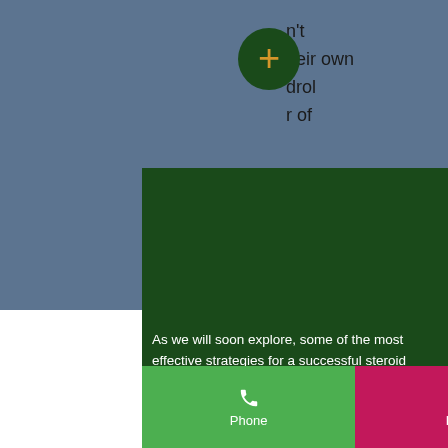[Figure (screenshot): Blue-gray rectangular area in upper left portion of page, partially overlapping green content area]
[Figure (illustration): Dark green circle with gold plus (+) button in center, positioned at top center-right]
n't
heir own
drol
r of
As we will soon explore, some of the most effective strategies for a successful steroid free living include following my advice regarding diet, lifestyle, training, and the application of the principles of self-sufficiency. You don't necessarily need to be able to eat perfectly, but you do need to be able to survive the challenges of being on a daily diet, deca durabolin hair loss. The key is to maintain the appropriate nutrients. Some of the most important nutrients are:
Phone | Email | Facebook